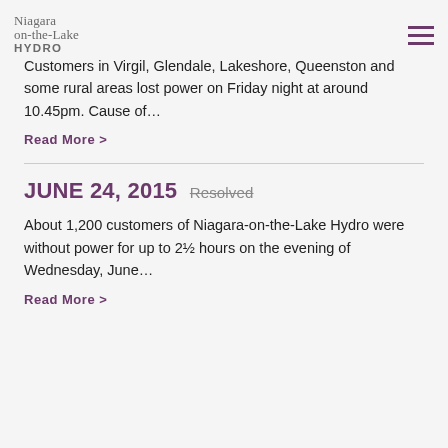Niagara on-the-Lake Hydro
Customers in Virgil, Glendale, Lakeshore, Queenston and some rural areas lost power on Friday night at around 10.45pm. Cause of…
Read More >
JUNE 24, 2015 Resolved
About 1,200 customers of Niagara-on-the-Lake Hydro were without power for up to 2½ hours on the evening of Wednesday, June…
Read More >